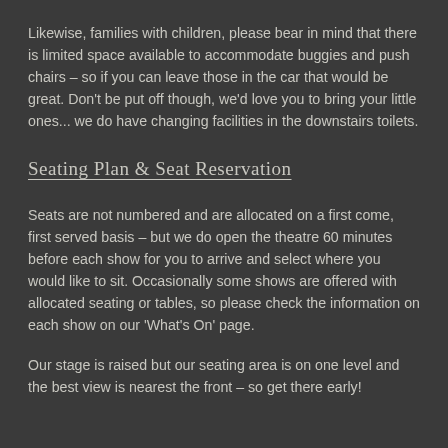Likewise, families with children, please bear in mind that there is limited space available to accommodate buggies and push chairs – so if you can leave those in the car that would be great. Don't be put off though, we'd love you to bring your little ones... we do have changing facilities in the downstairs toilets.
Seating Plan & Seat Reservation
Seats are not numbered and are allocated on a first come, first served basis – but we do open the theatre 60 minutes before each show for you to arrive and select where you would like to sit. Occasionally some shows are offered with allocated seating or tables, so please check the information on each show on our 'What's On' page.
Our stage is raised but our seating area is on one level and the best view is nearest the front – so get there early!